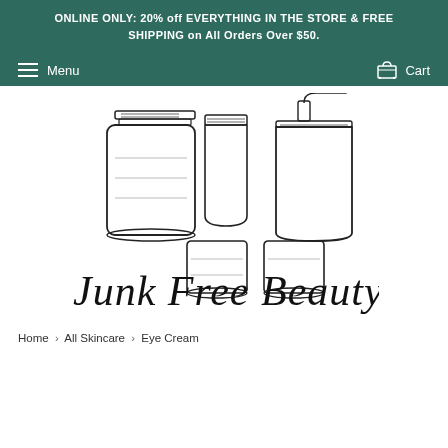ONLINE ONLY: 20% off EVERYTHING IN THE STORE & FREE SHIPPING on All Orders Over $50.
Menu  Cart
[Figure (logo): Junk Free Beauty logo with line-art illustrations of cosmetic containers (mason jar, tube, pump bottle, small jars) and handwritten-style text 'Junk Free Beauty']
Home › All Skincare › Eye Cream